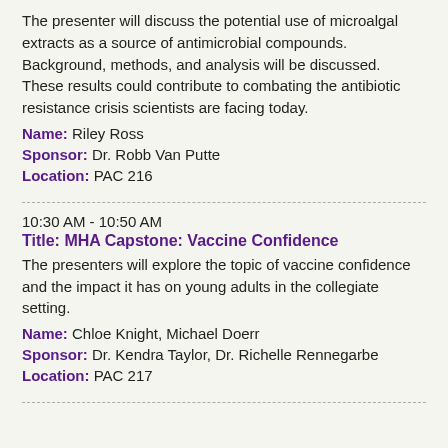The presenter will discuss the potential use of microalgal extracts as a source of antimicrobial compounds. Background, methods, and analysis will be discussed. These results could contribute to combating the antibiotic resistance crisis scientists are facing today.
Name: Riley Ross
Sponsor: Dr. Robb Van Putte
Location: PAC 216
10:30 AM - 10:50 AM
Title: MHA Capstone: Vaccine Confidence
The presenters will explore the topic of vaccine confidence and the impact it has on young adults in the collegiate setting.
Name: Chloe Knight, Michael Doerr
Sponsor: Dr. Kendra Taylor, Dr. Richelle Rennegarbe
Location: PAC 217